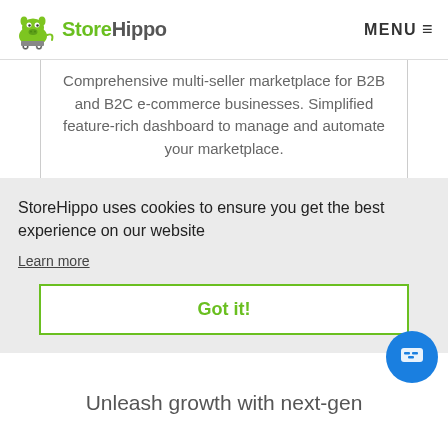StoreHippo   MENU
Comprehensive multi-seller marketplace for B2B and B2C e-commerce businesses. Simplified feature-rich dashboard to manage and automate your marketplace.
StoreHippo uses cookies to ensure you get the best experience on our website
Learn more
Got it!
Unleash growth with next-gen